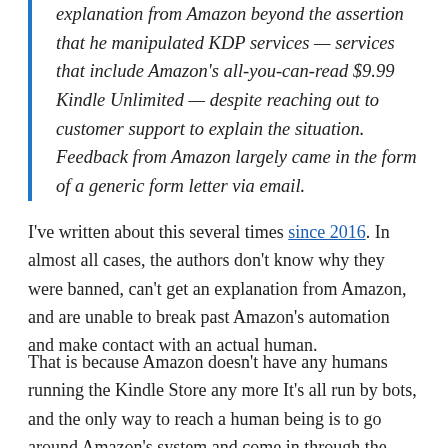Alphanu says he has yet to receive a clear, detailed explanation from Amazon beyond the assertion that he manipulated KDP services — services that include Amazon's all-you-can-read $9.99 Kindle Unlimited — despite reaching out to customer support to explain the situation. Feedback from Amazon largely came in the form of a generic form letter via email.
I've written about this several times since 2016. In almost all cases, the authors don't know why they were banned, can't get an explanation from Amazon, and are unable to break past Amazon's automation and make contact with an actual human.
That is because Amazon doesn't have any humans running the Kindle Store any more It's all run by bots, and the only way to reach a human being is to go around Amazon's system and come in through the side – either by getting the attention of